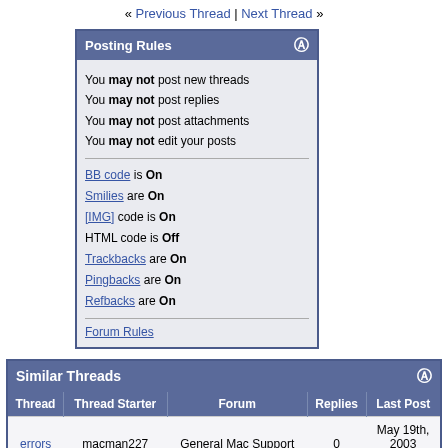« Previous Thread | Next Thread »
Posting Rules
You may not post new threads
You may not post replies
You may not post attachments
You may not edit your posts
BB code is On
Smilies are On
[IMG] code is On
HTML code is Off
Trackbacks are On
Pingbacks are On
Refbacks are On
Forum Rules
Similar Threads
| Thread | Thread Starter | Forum | Replies | Last Post |
| --- | --- | --- | --- | --- |
| errors | macman227 | General Mac Support | 0 | May 19th, 2003 05:49 PM |
| Errors | webbub | Connection Problems | 3 | December 21st, 2002 12:58 PM |
| A few errors | Unregistered | XoloX Beta program | 0 | November 25th, 2002 12:34 AM |